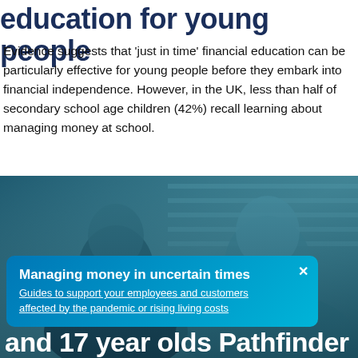education for young people
Evidence suggests that 'just in time' financial education can be particularly effective for young people before they embark into financial independence. However, in the UK, less than half of secondary school age children (42%) recall learning about managing money at school.
[Figure (photo): Two young people smiling, shown in a teal/blue-tinted photograph in what appears to be a school or office environment.]
Managing money in uncertain times
Guides to support your employees and customers affected by the pandemic or rising living costs
and 17 year olds Pathfinder